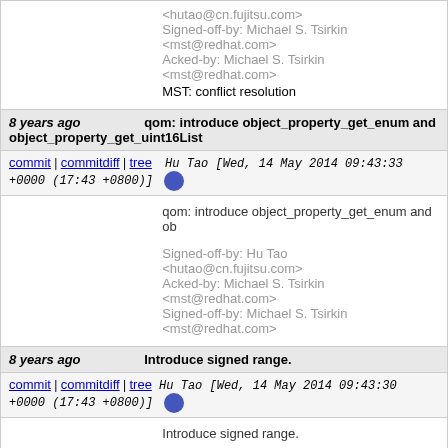<hutao@cn.fujitsu.com>
Signed-off-by: Michael S. Tsirkin <mst@redhat.com>
Acked-by: Michael S. Tsirkin <mst@redhat.com>
MST: conflict resolution
8 years ago   qom: introduce object_property_get_enum and object_property_get_uint16List
commit | commitdiff | tree   Hu Tao [Wed, 14 May 2014 09:43:33 +0000 (17:43 +0800)]
qom: introduce object_property_get_enum and ob...

Signed-off-by: Hu Tao <hutao@cn.fujitsu.com>
Acked-by: Michael S. Tsirkin <mst@redhat.com>
Signed-off-by: Michael S. Tsirkin <mst@redhat.com>
8 years ago   Introduce signed range.
commit | commitdiff | tree   Hu Tao [Wed, 14 May 2014 09:43:30 +0000 (17:43 +0800)]
Introduce signed range.

Signed-off-by: Hu Tao